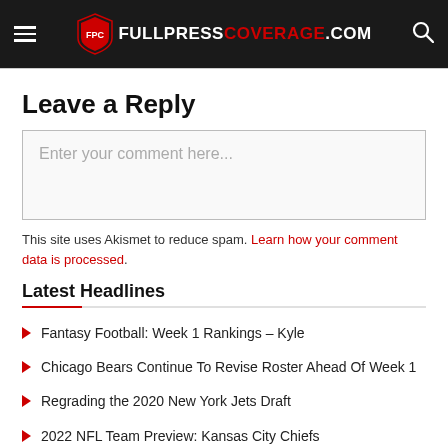FULLPRESSCOVERAGE.COM
Leave a Reply
Enter your comment here...
This site uses Akismet to reduce spam. Learn how your comment data is processed.
Latest Headlines
Fantasy Football: Week 1 Rankings – Kyle
Chicago Bears Continue To Revise Roster Ahead Of Week 1
Regrading the 2020 New York Jets Draft
2022 NFL Team Preview: Kansas City Chiefs